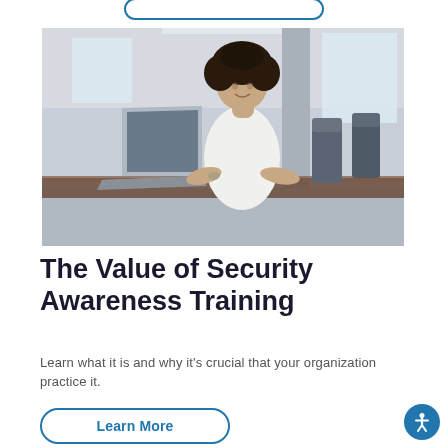[Figure (photo): A young woman with curly hair wearing a white shirt, leaning over a desk with a laptop open, in a modern office/classroom environment with chairs and windows in the background.]
The Value of Security Awareness Training
Learn what it is and why it's crucial that your organization practice it.
Learn More